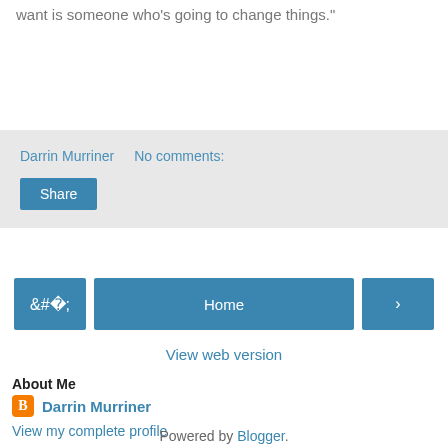want is someone who's going to change things."
Darrin Murriner    No comments:
Share
Home
View web version
About Me
Darrin Murriner
View my complete profile
Powered by Blogger.